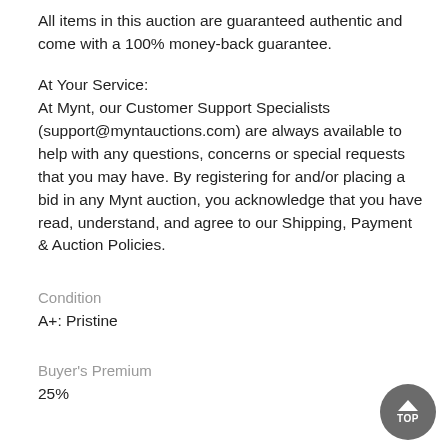All items in this auction are guaranteed authentic and come with a 100% money-back guarantee.
At Your Service:
At Mynt, our Customer Support Specialists (support@myntauctions.com) are always available to help with any questions, concerns or special requests that you may have. By registering for and/or placing a bid in any Mynt auction, you acknowledge that you have read, understand, and agree to our Shipping, Payment & Auction Policies.
Condition
A+: Pristine
Buyer's Premium
25%